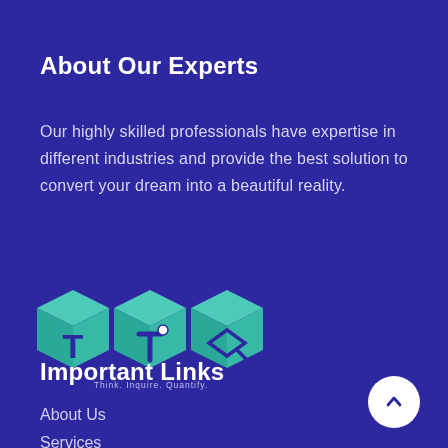About Our Experts
Our highly skilled professionals have expertise in different industries and provide the best solution to convert your dream into a beautiful reality.
[Figure (logo): TIQ logo — three teal 3D cube icons with letters T, I, Q and tagline 'Think. Inquire. Quantify.']
Important Links
About Us
Services